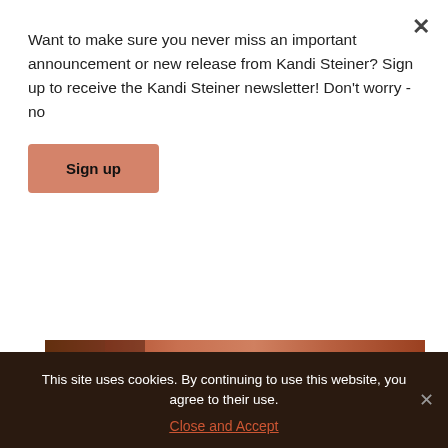Want to make sure you never miss an important announcement or new release from Kandi Steiner? Sign up to receive the Kandi Steiner newsletter! Don't worry - no
Sign up
[Figure (photo): Horizontal strip of a reddish-brown image, appears to be part of a book cover or promotional image]
(source: Giphy)
Not if it isn't true to who you are.
It seems simple, and these examples are just
This site uses cookies. By continuing to use this website, you agree to their use.
Close and Accept